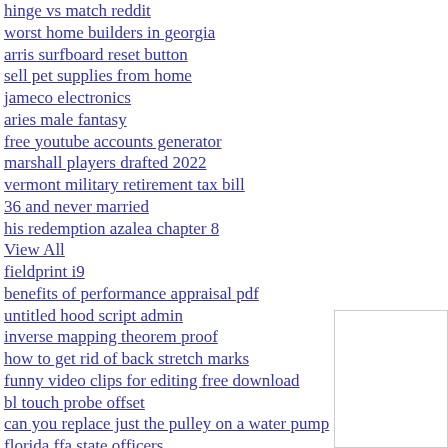hinge vs match reddit
worst home builders in georgia
arris surfboard reset button
sell pet supplies from home
jameco electronics
aries male fantasy
free youtube accounts generator
marshall players drafted 2022
vermont military retirement tax bill
36 and never married
his redemption azalea chapter 8
View All
fieldprint i9
benefits of performance appraisal pdf
untitled hood script admin
inverse mapping theorem proof
how to get rid of back stretch marks
funny video clips for editing free download
bl touch probe offset
can you replace just the pulley on a water pump
florida ffa state officers
kroger donation request
roku and spectrum dispute 2022
wotlk hunter pvp gear
poodle breeders south australia
commercial carbonation machine